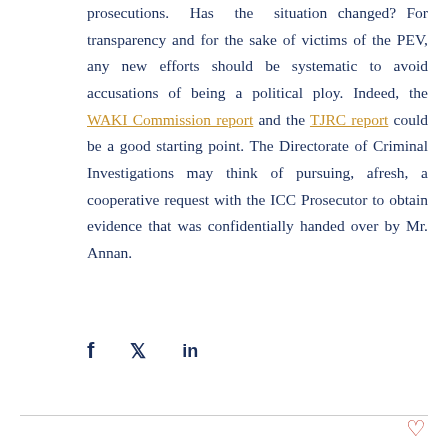prosecutions. Has the situation changed? For transparency and for the sake of victims of the PEV, any new efforts should be systematic to avoid accusations of being a political ploy. Indeed, the WAKI Commission report and the TJRC report could be a good starting point. The Directorate of Criminal Investigations may think of pursuing, afresh, a cooperative request with the ICC Prosecutor to obtain evidence that was confidentially handed over by Mr. Annan.
[Figure (other): Social media sharing icons: Facebook (f), Twitter (bird), LinkedIn (in)]